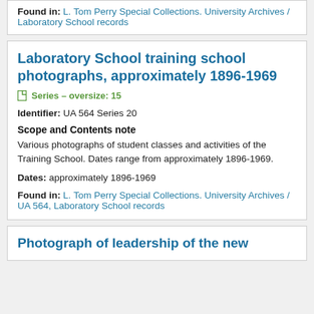Found in: L. Tom Perry Special Collections. University Archives / Laboratory School records
Laboratory School training school photographs, approximately 1896-1969
Series – oversize: 15
Identifier: UA 564 Series 20
Scope and Contents note
Various photographs of student classes and activities of the Training School. Dates range from approximately 1896-1969.
Dates: approximately 1896-1969
Found in: L. Tom Perry Special Collections. University Archives / UA 564, Laboratory School records
Photograph of leadership of the new